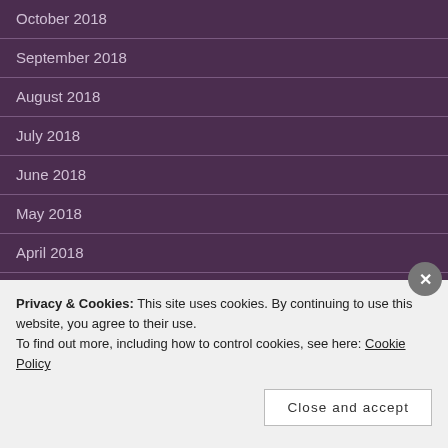October 2018
September 2018
August 2018
July 2018
June 2018
May 2018
April 2018
March 2018
February 2018
Privacy & Cookies: This site uses cookies. By continuing to use this website, you agree to their use. To find out more, including how to control cookies, see here: Cookie Policy
Close and accept